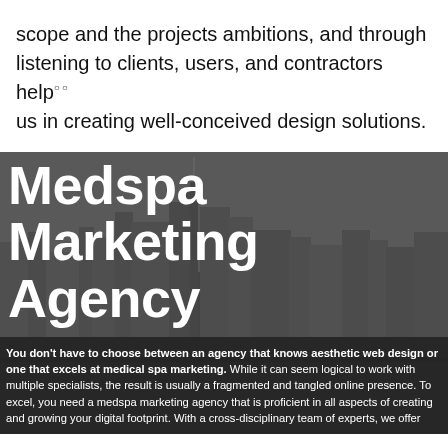scope and the projects ambitions, and through listening to clients, users, and contractors help us in creating well-conceived design solutions.
[Figure (photo): Grayscale aerial photo of a city skyline with tall skyscrapers, overlaid with large white bold text 'Medspa Marketing Agency' and a paragraph about medspa marketing agency services.]
Medspa Marketing Agency
You don't have to choose between an agency that knows aesthetic web design or one that excels at medical spa marketing. While it can seem logical to work with multiple specialists, the result is usually a fragmented and tangled online presence. To excel, you need a medspa marketing agency that is proficient in all aspects of creating and growing your digital footprint. With a cross-disciplinary team of experts, we offer